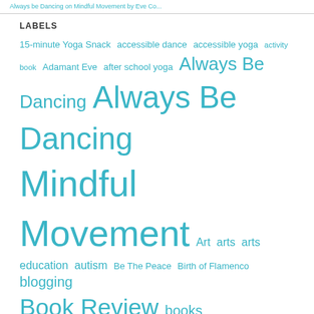Always be Dancing on Mindful Movement by Eve Co...
LABELS
15-minute Yoga Snack  accessible dance  accessible yoga  activity book  Adamant Eve  after school yoga  Always Be Dancing  Always Be Dancing Mindful Movement  Art  arts  arts education  autism  Be The Peace  Birth of Flamenco  blogging  Book Review  books  children  children's books  children's meditation  Childrens Dance  Childrens Flamenco  childrens tap dance  childrens yoga  classroom yoga  Common Street Spiritual center  dance  Dance Classes  Dance Instruction  Dance In The Schools  dancing  Diversity Picture Book  Education  Embodied Movement  Emotional Intelligence  Eve Costarelli  Event  Flamenco  Game Book  games  Groove & Flow  Grounding In Community  Health  healthy  in school yoga  Interview